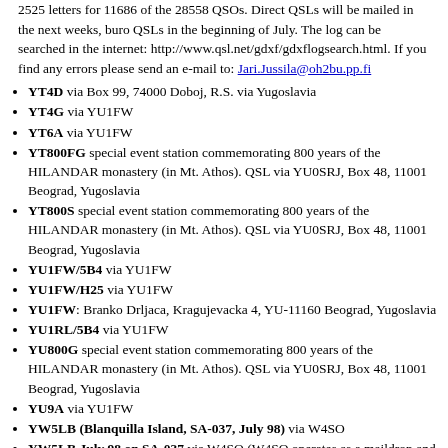2525 letters for 11686 of the 28558 QSOs. Direct QSLs will be mailed in the next weeks, buro QSLs in the beginning of July. The log can be searched in the internet: http://www.qsl.net/gdxf/gdxflogsearch.html. If you find any errors please send an e-mail to: Jari.Jussila@oh2bu.pp.fi
YT4D via Box 99, 74000 Doboj, R.S. via Yugoslavia
YT4G via YU1FW
YT6A via YU1FW
YT800FG special event station commemorating 800 years of the HILANDAR monastery (in Mt. Athos). QSL via YU0SRJ, Box 48, 11001 Beograd, Yugoslavia
YT800S special event station commemorating 800 years of the HILANDAR monastery (in Mt. Athos). QSL via YU0SRJ, Box 48, 11001 Beograd, Yugoslavia
YU1FW/5B4 via YU1FW
YU1FW/H25 via YU1FW
YU1FW: Branko Drljaca, Kragujevacka 4, YU-11160 Beograd, Yugoslavia
YU1RL/5B4 via YU1FW
YU800G special event station commemorating 800 years of the HILANDAR monastery (in Mt. Athos). QSL via YU0SRJ, Box 48, 11001 Beograd, Yugoslavia
YU9A via YU1FW
YW5LB (Blanquilla Island, SA-037, July 98) via W4SO
YW5LB July 98 on SA-037 via W4SO (W4SO operates as a maildrop and then forwards the cards to YW5LB. He has